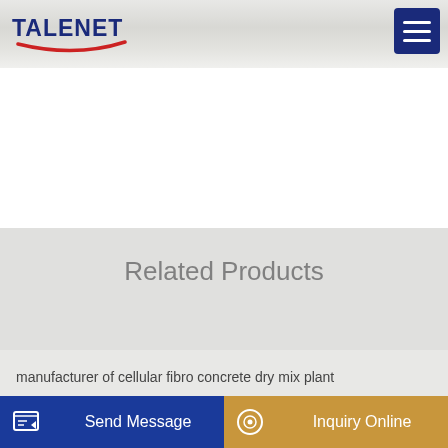[Figure (logo): Talenet company logo with blue text and red arc underline]
[Figure (other): Hamburger menu icon (three horizontal lines) on dark blue background]
Related Products
manufacturer of cellular fibro concrete dry mix plant
mobile 60m3 h precast concrete batching mixing plant
Scania R420 6x2 Mixer truck Beton mixer vrachtwagen
Concrete Pumping Co Melbourne in Northcote Victoria
Send Message
Inquiry Online